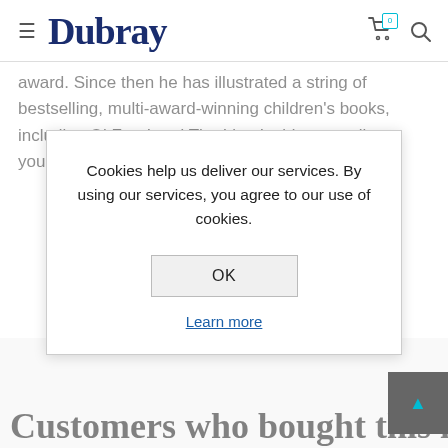Dubray
award. Since then he has illustrated a string of bestselling, multi-award-winning children's books, including Oi Frog! and The Lion Inside, as well as young fiction series Rabbit and Bear, middlegrade
Cookies help us deliver our services. By using our services, you agree to our use of cookies.
OK
Learn more
Customers who bought this i...